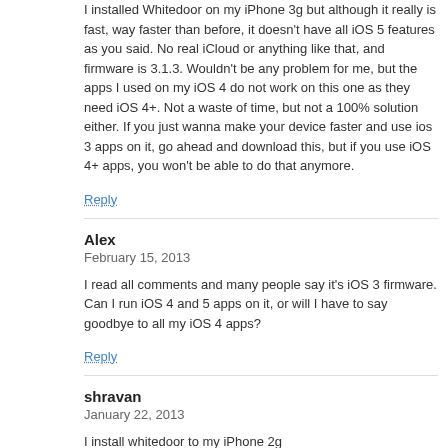I installed Whitedoor on my iPhone 3g but although it really is fast, way faster than before, it doesn't have all iOS 5 features as you said. No real iCloud or anything like that, and firmware is 3.1.3. Wouldn't be any problem for me, but the apps I used on my iOS 4 do not work on this one as they need iOS 4+. Not a waste of time, but not a 100% solution either. If you just wanna make your device faster and use ios 3 apps on it, go ahead and download this, but if you use iOS 4+ apps, you won't be able to do that anymore.
Reply
Alex
February 15, 2013
I read all comments and many people say it's iOS 3 firmware. Can I run iOS 4 and 5 apps on it, or will I have to say goodbye to all my iOS 4 apps?
Reply
shravan
January 22, 2013
I install whitedoor to my iPhone 2g
And after finishing installation
A message show...